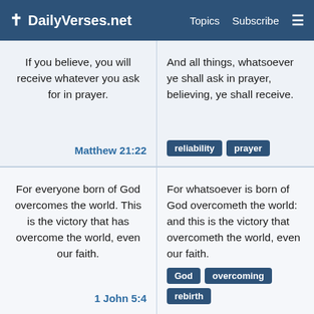✝ DailyVerses.net   Topics   Subscribe   ≡
If you believe, you will receive whatever you ask for in prayer.
Matthew 21:22
And all things, whatsoever ye shall ask in prayer, believing, ye shall receive.
reliability
prayer
For everyone born of God overcomes the world. This is the victory that has overcome the world, even our faith.
1 John 5:4
For whatsoever is born of God overcometh the world: and this is the victory that overcometh the world, even our faith.
God
overcoming
rebirth